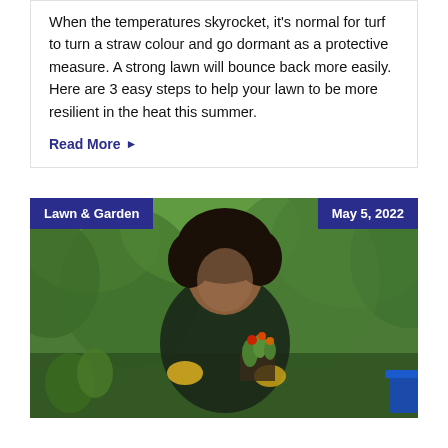When the temperatures skyrocket, it's normal for turf to turn a straw colour and go dormant as a protective measure. A strong lawn will bounce back more easily. Here are 3 easy steps to help your lawn to be more resilient in the heat this summer.
Read More ▶
[Figure (photo): A smiling young woman with curly hair wearing a dark plaid shirt and yellow gardening gloves, kneeling outdoors and holding a small potted plant with red and orange flowers. Lush green garden background. Labels overlaid: 'Lawn & Garden' tag on the left and 'May 5, 2022' date on the right.]